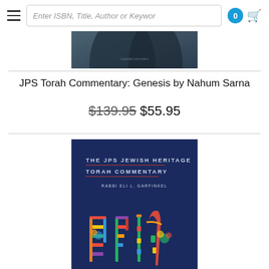Enter ISBN, Title, Author or Keyword — search bar with cart icon showing 0
[Figure (photo): Partial top view of a book cover (dark bluish-gray tones, partially visible)]
JPS Torah Commentary: Genesis by Nahum Sarna
$139.95 $55.95
[Figure (photo): Book cover: 'The JPS Jewish Heritage Torah Commentary' by Rabbi Eli L. Garfinkel. Dark navy blue background with colorful stylized Hebrew letters (Torah) at the bottom in reds, oranges, yellows, greens, and blues.]